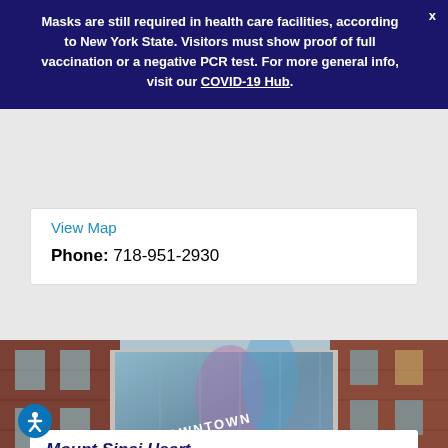Masks are still required in health care facilities, according to New York State. Visitors must show proof of full vaccination or a negative PCR test. For more general info, visit our COVID-19 Hub.
View Map
Phone: 718-951-2930
[Figure (photo): Exterior photo of Mount Sinai Downtown building entrance with glass canopy and signage reading MOUNT SINAI DOWNTOWN]
Mount Sinai Heart...